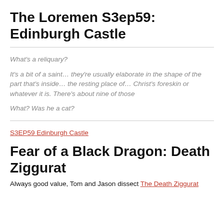The Loremen S3ep59: Edinburgh Castle
What's a reliquary?
It's a bit of a saint… they're usually elaborate in the shape of the part that's inside… the resting place of… Christ's foreskin or whatever it is. There's about nine of those
What? Was he a cat?
S3EP59 Edinburgh Castle
Fear of a Black Dragon: Death Ziggurat
Always good value, Tom and Jason dissect The Death Ziggurat